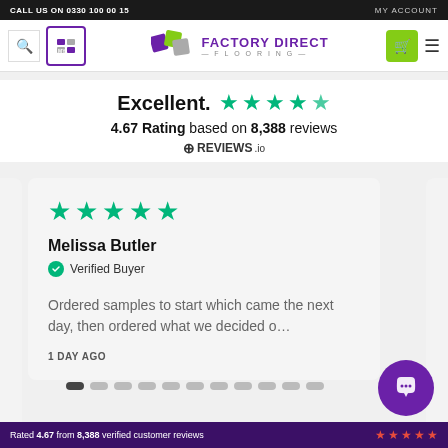CALL US ON 0330 100 00 15 | MY ACCOUNT
[Figure (logo): Factory Direct Flooring logo with purple tile graphic and nav icons]
Excellent. ★★★★★ 4.67 Rating based on 8,388 reviews REVIEWS.io
Melissa Butler
Verified Buyer
Ordered samples to start which came the next day, then ordered what we decided o…
1 DAY AGO
Rated 4.67 from 8,388 verified customer reviews ★★★★★